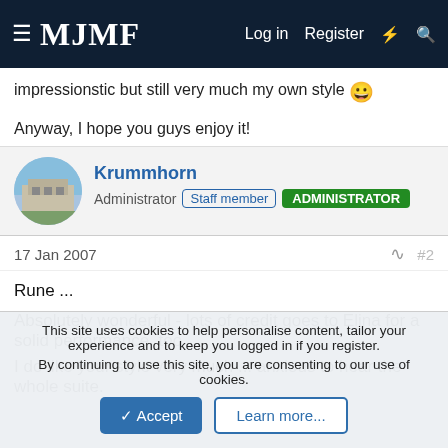MJMF | Log in | Register
impressionstic but still very much my own style 🙂
Anyway, I hope you guys enjoy it!
Krummhorn
Administrator  Staff member  ADMINISTRATOR
17 Jan 2007   #2
Rune ...
Absolutely wonderful - lots of credit goes to Elina for a solid performance, too
I do like your style very much ... anxious to hear the whole suite.
This site uses cookies to help personalise content, tailor your experience and to keep you logged in if you register.
By continuing to use this site, you are consenting to our use of cookies.
✓ Accept   Learn more...